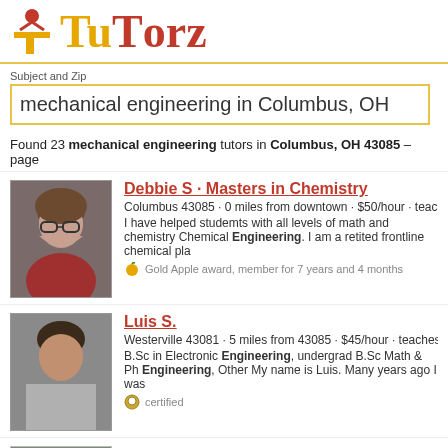[Figure (logo): TuTorz logo with gold and red lettering and a small figure icon]
Subject and Zip
mechanical engineering in Columbus, OH
Found 23 mechanical engineering tutors in Columbus, OH 43085 – page
Debbie S · Masters in Chemistry
Columbus 43085 · 0 miles from downtown · $50/hour · teac
I have helped studemts with all levels of math and chemistry Chemical Engineering. I am a retited frontline chemical pla
Gold Apple award, member for 7 years and 4 months
Luis S.
Westerville 43081 · 5 miles from 43085 · $45/hour · teaches
B.Sc in Electronic Engineering, undergrad B.Sc Math & Ph Engineering, Other My name is Luis. Many years ago I was
certified
Naveen V.
Columbus 43221 · 6 miles from downtown · $55/hour · teac